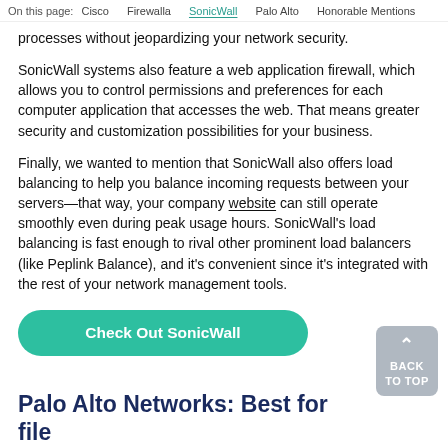On this page: Cisco   Firewalla   SonicWall   Palo Alto   Honorable Mentions
processes without jeopardizing your network security.
SonicWall systems also feature a web application firewall, which allows you to control permissions and preferences for each computer application that accesses the web. That means greater security and customization possibilities for your business.
Finally, we wanted to mention that SonicWall also offers load balancing to help you balance incoming requests between your servers—that way, your company website can still operate smoothly even during peak usage hours. SonicWall's load balancing is fast enough to rival other prominent load balancers (like Peplink Balance), and it's convenient since it's integrated with the rest of your network management tools.
Check Out SonicWall
Palo Alto Networks: Best for file